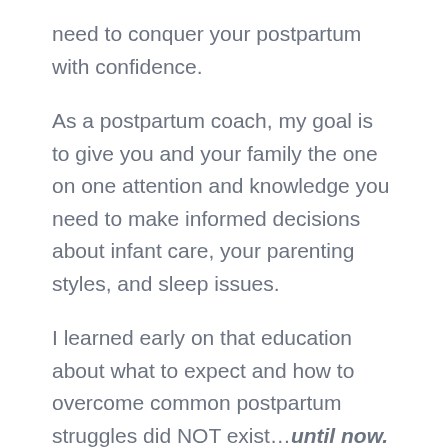need to conquer your postpartum with confidence.
As a postpartum coach, my goal is to give you and your family the one on one attention and knowledge you need to make informed decisions about infant care, your parenting styles, and sleep issues.
I learned early on that education about what to expect and how to overcome common postpartum struggles did NOT exist…until now. Let's change that together and get you on a path where you THRIVE and love your postpartum.